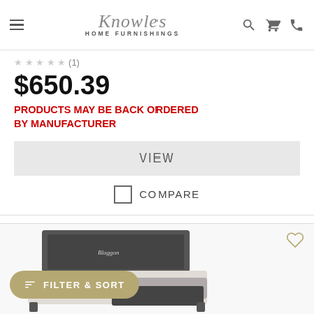Knowles Home Furnishings
$650.39
PRODUCTS MAY BE BACK ORDERED BY MANUFACTURER
VIEW
COMPARE
[Figure (photo): Bed product photo visible at bottom of page]
FILTER & SORT